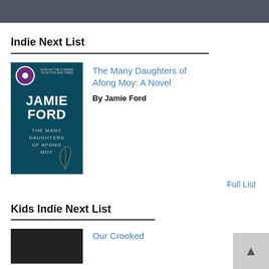Indie Next List
[Figure (illustration): Book cover of 'The Many Daughters of Afong Moy' by Jamie Ford — dark teal background, large bold white author name Jamie Ford, subtitle text in upper right, purple badge in top left, decorative feather illustration.]
The Many Daughters of Afong Moy: A Novel
By Jamie Ford
Full List
Kids Indie Next List
[Figure (illustration): Partial book cover visible at page bottom, dark background.]
Our Crooked